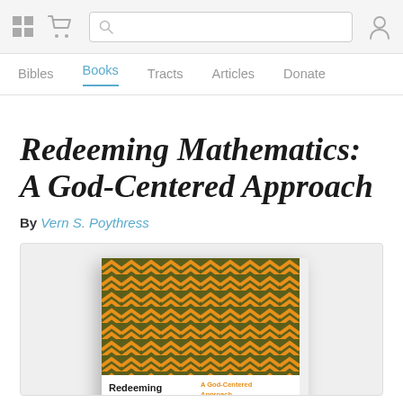Navigation bar with grid icon, cart, search, and user icons
Bibles | Books | Tracts | Articles | Donate
Redeeming Mathematics: A God-Centered Approach
By Vern S. Poythress
[Figure (photo): Book cover of 'Redeeming Mathematics: A God-Centered Approach' by Vern S. Poythress. Cover has an olive/dark green and orange chevron pattern. Bottom shows white band with title 'Redeeming Mathematics', subtitle 'A God-Centered Approach' in orange, and author name 'Vern S. Poythress'.]